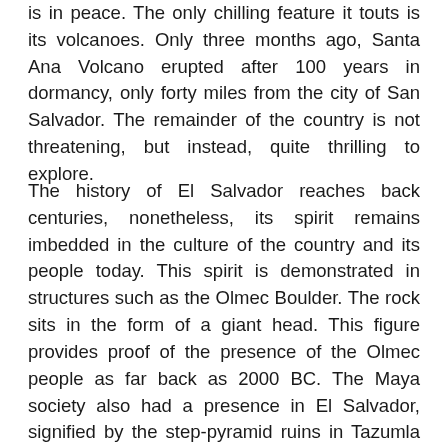is in peace. The only chilling feature it touts is its volcanoes. Only three months ago, Santa Ana Volcano erupted after 100 years in dormancy, only forty miles from the city of San Salvador. The remainder of the country is not threatening, but instead, quite thrilling to explore.
The history of El Salvador reaches back centuries, nonetheless, its spirit remains imbedded in the culture of the country and its people today. This spirit is demonstrated in structures such as the Olmec Boulder. The rock sits in the form of a giant head. This figure provides proof of the presence of the Olmec people as far back as 2000 BC. The Maya society also had a presence in El Salvador, signified by the step-pyramid ruins in Tazumla and San Andres. It is believed that they were in the country for over 1000 years. There is evidence that other cultures such as the Chorti, Lenca, and Pokomam found home in El Salvador during its early years and the Pipil people, descendents of the well-known Aztecs, arrived in